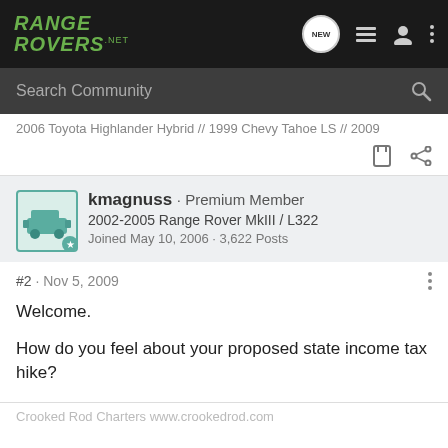[Figure (screenshot): RangeRovers.net website navigation bar with logo, search bar, and forum post from user kmagnuss]
RANGE ROVERS .NET
Search Community
2006 Toyota Highlander Hybrid // 1999 Chevy Tahoe LS // 2009
kmagnuss · Premium Member
2002-2005 Range Rover MkIII / L322
Joined May 10, 2006 · 3,622 Posts
#2 · Nov 5, 2009
Welcome.
How do you feel about your proposed state income tax hike?
Crooked Rod Charters www.crookedrod.com